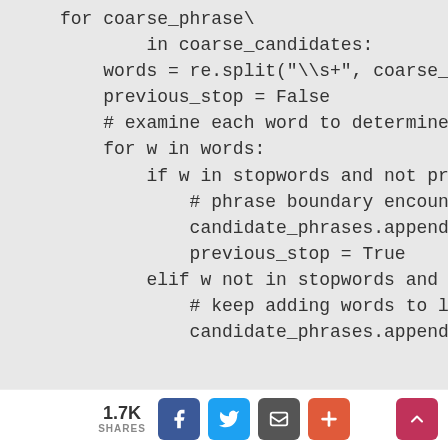[Figure (screenshot): Python code snippet showing a loop over coarse_candidates, splitting words, checking stopwords, and appending to candidate_phrases. Code is shown on a grey background, partially cut off on the right.]
1.7K SHARES [Facebook] [Twitter] [Email] [+]